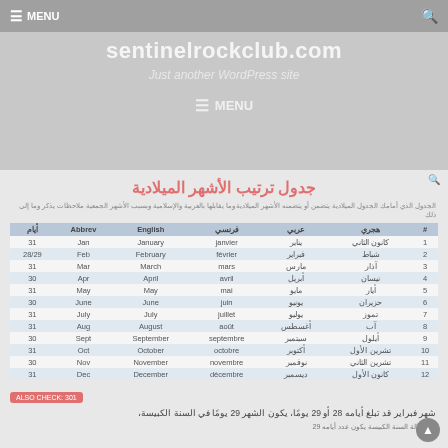MENU | sentinelrockclub.com | Just another WordPress site | MENU
جدول ترتيب الأشهر الميلادية
الجدول الذي أمامك الجدول الميلادية يتضمن أو يتضمنه الأشهر الميلادية وما يقابلها بالعربية والإسلامية وبسبب الأشهر الجمعية ملاحظات يذكر وما إلى ذلك
| # | هجري | عربي | فرنسي | English | Abbrev | أيام |
| --- | --- | --- | --- | --- | --- | --- |
| 1 | كانون الثاني | يناير | janvier | January | Jan | 31 |
| 2 | شباط | فبراير | février | February | Feb | 28/29 |
| 3 | آذار | مارس | mars | March | Mar | 31 |
| 4 | نيسان | أبريل | avril | April | Apr | 30 |
| 5 | أيار | مايو | mai | May | May | 31 |
| 6 | حزيران | يونيو | juin | June | June | 30 |
| 7 | تموز | يوليو | juillet | July | July | 31 |
| 8 | آب | أغسطس | août | August | Aug | 31 |
| 9 | أيلول | سبتمبر | septembre | September | Sept | 30 |
| 10 | تشرين الأول | أكتوبر | octobre | October | Oct | 31 |
| 11 | تشرين الثاني | نوفمبر | novembre | November | Nov | 30 |
| 12 | كانون الأول | ديسمبر | décembre | December | Dec | 31 |
شهر فبراير قد تبلغ أيامه 28 أو 29 يومًا، يكون الشهر 29 يومًا في السنة الكبيسة.